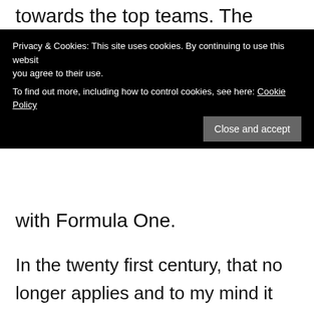towards the top teams. The exceptional would stand
Privacy & Cookies: This site uses cookies. By continuing to use this website you agree to their use. To find out more, including how to control cookies, see here: Cookie Policy
Close and accept
with Formula One.
In the twenty first century, that no longer applies and to my mind it cheapens the ability of these remarkable athletes. Maybe in it's own way that is why Lewis Hamilton and Sebastian Vettel don't get the true respect their abilities deserve.